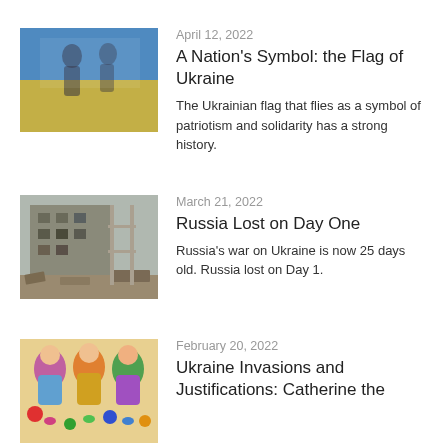[Figure (photo): People holding a blue and yellow Ukrainian flag]
April 12, 2022
A Nation's Symbol: the Flag of Ukraine
The Ukrainian flag that flies as a symbol of patriotism and solidarity has a strong history.
[Figure (photo): Destroyed building with rubble and construction scaffolding]
March 21, 2022
Russia Lost on Day One
Russia's war on Ukraine is now 25 days old. Russia lost on Day 1.
[Figure (photo): Colorful folk art illustration with stylized figures]
February 20, 2022
Ukraine Invasions and Justifications: Catherine the